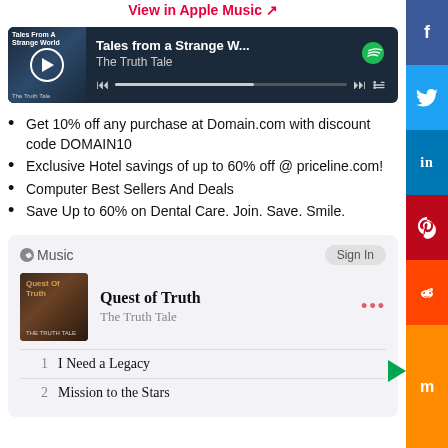View in Apple Music ↗
[Figure (screenshot): Spotify embedded player showing 'Tales from a Strange W...' by The Truth Tale, with album art, play button, progress bar, and Spotify logo]
Get 10% off any purchase at Domain.com with discount code DOMAIN10
Exclusive Hotel savings of up to 60% off @ priceline.com!
Computer Best Sellers And Deals
Save Up to 60% on Dental Care. Join. Save. Smile.
[Figure (screenshot): Apple Music widget showing 'Quest of Truth' album by The Truth Tale, with track list: 1. I Need a Legacy, 2. Mission to the Stars]
[Figure (other): Social media sharing sidebar with Facebook, Twitter, LinkedIn, Pinterest, Reddit, and Mix buttons]